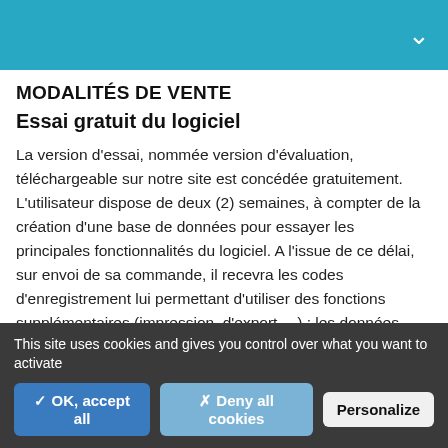MODALITÉS DE VENTE
Essai gratuit du logiciel
La version d'essai, nommée version d'évaluation, téléchargeable sur notre site est concédée gratuitement. L'utilisateur dispose de deux (2) semaines, à compter de la création d'une base de données pour essayer les principales fonctionnalités du logiciel. A l'issue de ce délai, sur envoi de sa commande, il recevra les codes d'enregistrement lui permettant d'utiliser des fonctions supplémentaires (impression, d'export …) ; les données saisies en phase d'essai seront
This site uses cookies and gives you control over what you want to activate
✓ OK, accept all   ✗ Deny all cookies   Personalize